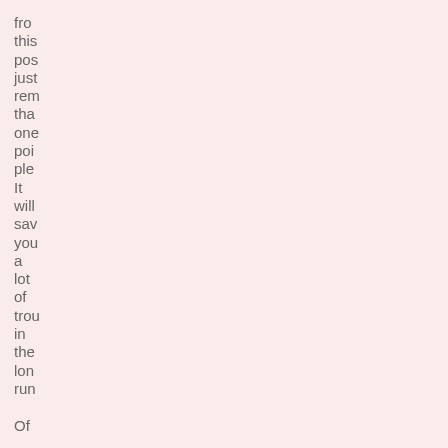from this pos just rem tha one poi ple It will sav you a lot of trou in the lon run Of